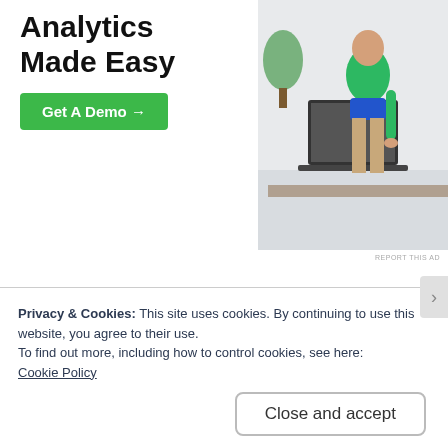[Figure (illustration): Advertisement banner with bold text 'Analytics Made Easy', a green 'Get A Demo →' button, and a photo of a person in a green top at a desk with a laptop.]
Directions:
Heat a large high-sided skillet over medium-high heat. Add sausage (or other meat) and cook, breaking the meat into small pieces as it cooks. Once the meat is
Privacy & Cookies: This site uses cookies. By continuing to use this website, you agree to their use.
To find out more, including how to control cookies, see here:
Cookie Policy
Close and accept